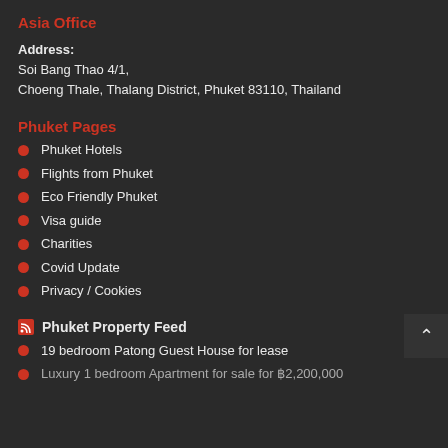Asia Office
Address: Soi Bang Thao 4/1, Choeng Thale, Thalang District, Phuket 83110, Thailand
Phuket Pages
Phuket Hotels
Flights from Phuket
Eco Friendly Phuket
Visa guide
Charities
Covid Update
Privacy / Cookies
Phuket Property Feed
19 bedroom Patong Guest House for lease
Luxury 1 bedroom Apartment for sale for ฿2,200,000